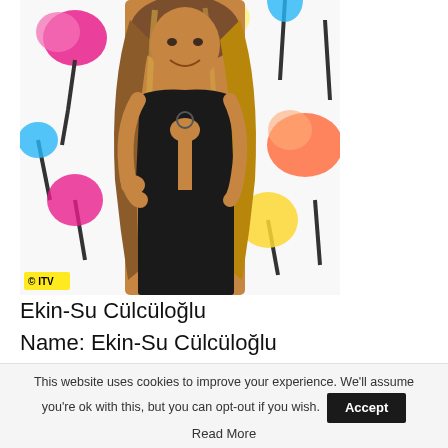[Figure (photo): Woman in black cutout dress posing in front of colorful lollipop background. Watermark reads © ITV in bottom left corner.]
Ekin-Su Cülcüloğlu
Name: Ekin-Su Cülcüloğlu
This website uses cookies to improve your experience. We'll assume you're ok with this, but you can opt-out if you wish. Accept
Read More